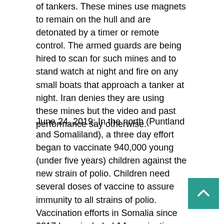of tankers. These mines use magnets to remain on the hull and are detonated by a timer or remote control. The armed guards are being hired to scan for such mines and to stand watch at night and fire on any small boats that approach a tanker at night. Iran denies they are using these mines but the video and past performance say otherwise.
June 24, 2019: In the north (Puntland and Somaliland), a three day effort began to vaccinate 940,000 young (under five years) children against the new strain of polio. Children need several doses of vaccine to assure immunity to all strains of polio. Vaccination efforts in Somalia since 2017 have included 14 vaccination campaigns, with five of them for all of Somalia (including Puntland and Somaliland) and nine of them regional (like this one.)